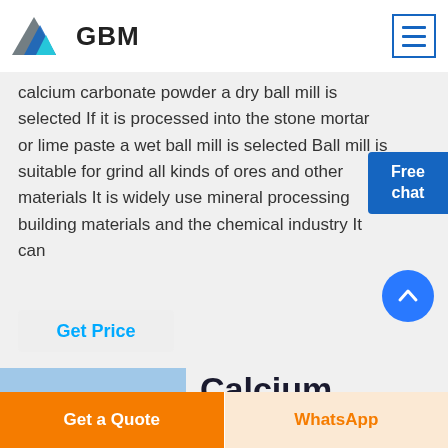GBM
calcium carbonate powder a dry ball mill is selected If it is processed into the stone mortar or lime paste a wet ball mill is selected Ball mill is suitable for grinding all kinds of ores and other materials It is widely used in mineral processing building materials and the chemical industry It can
Get Price
[Figure (photo): Photo of industrial machinery/plant, partially visible at bottom left]
Calcium
Get a Quote
WhatsApp